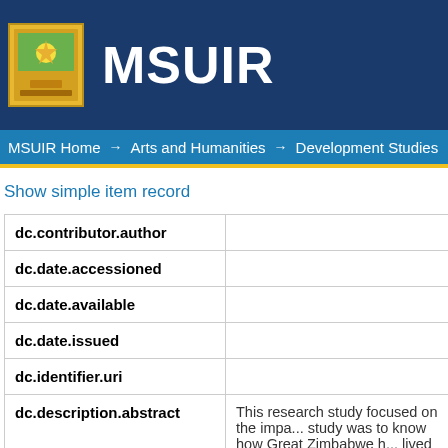MSUIR
MSUIR Home → Arts and Humanities → Development Studies → D
Show simple item record
| Field | Value |
| --- | --- |
| dc.contributor.author |  |
| dc.date.accessioned |  |
| dc.date.available |  |
| dc.date.issued |  |
| dc.identifier.uri |  |
| dc.description.abstract | This research study focused on the impa... study was to know how Great Zimbabwe h... lived in its vicinity. What is critically... heritage has effected sustainable deve... that they are left out when it comes t... economic, cultural, educational, social an |